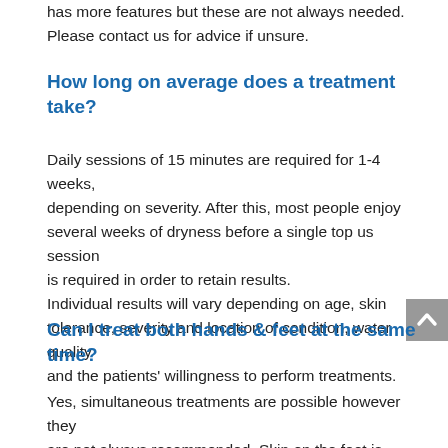has more features but these are not always needed. Please contact us for advice if unsure.
How long on average does a treatment take?
Daily sessions of 15 minutes are required for 1-4 weeks, depending on severity. After this, most people enjoy several weeks of dryness before a single top us session is required in order to retain results.
Individual results will vary depending on age, skin tolerance, severity and location of condition, water quality and the patients' willingness to perform treatments.
Can I treat both hands & feet at the same time?
Yes, simultaneous treatments are possible however they are not always recommended. Skin on the feet is thicker and so generally requires power higher than the hands.